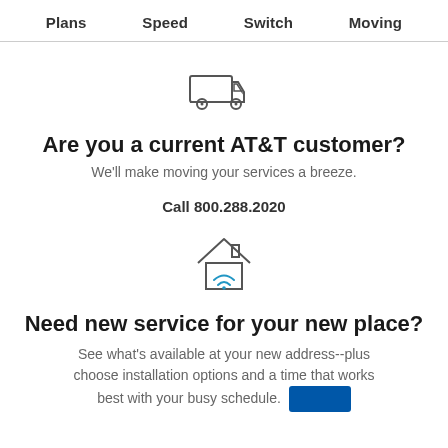Plans  Speed  Switch  Moving
[Figure (illustration): Delivery truck icon (outline style)]
Are you a current AT&T customer?
We'll make moving your services a breeze.
Call 800.288.2020
[Figure (illustration): House with WiFi signal icon (outline style)]
Need new service for your new place?
See what's available at your new address--plus choose installation options and a time that works best with your busy schedule.